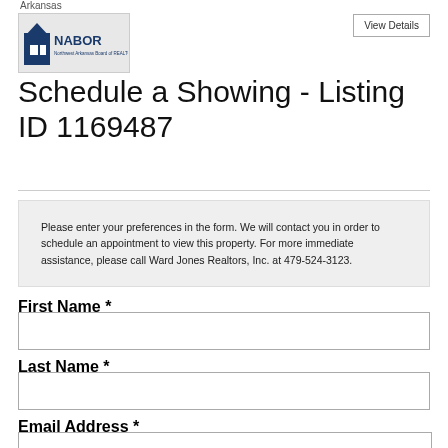Arkansas
[Figure (logo): NABOR logo - Northwest Arkansas Board of Realtors logo with house icon and blue text]
View Details
Schedule a Showing - Listing ID 1169487
Please enter your preferences in the form. We will contact you in order to schedule an appointment to view this property. For more immediate assistance, please call Ward Jones Realtors, Inc. at 479-524-3123.
First Name *
Last Name *
Email Address *